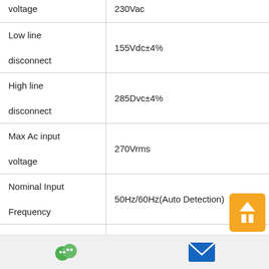| Parameter | Value |
| --- | --- |
| voltage | 230Vac |
| Low line disconnect | 155Vdc±4% |
| High line disconnect | 285Dvc±4% |
| Max Ac input voltage | 270Vrms |
| Nominal Input Frequency | 50Hz/60Hz(Auto Detection) |
| Over load |  |